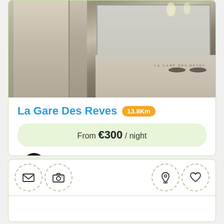[Figure (photo): Interior photo of La Gare Des Reves hotel bathroom with wooden panels, mirrors, and dark vessel sinks on a vanity counter with brand name text]
La Gare Des Reves 13.8Km
From €300 / night
Book Now
[Figure (infographic): Bottom navigation bar with four circular dashed icons: envelope/mail, camera, map pin/location, and heart/favorite]